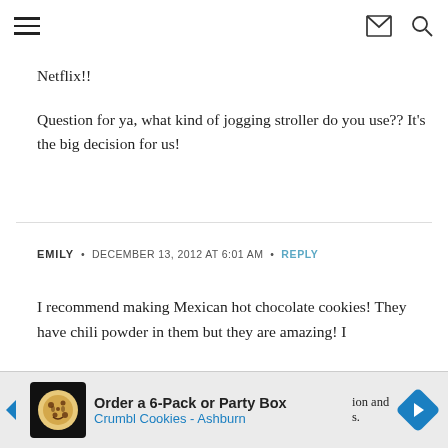[hamburger menu icon] [envelope icon] [search icon]
Netflix!!
Question for ya, what kind of jogging stroller do you use?? It’s the big decision for us!
EMILY • DECEMBER 13, 2012 AT 6:01 AM • REPLY
I recommend making Mexican hot chocolate cookies! They have chili powder in them but they are amazing! I
[Figure (infographic): Advertisement banner: Order a 6-Pack or Party Box - Crumbl Cookies - Ashburn, with cookie logo image and blue diamond navigation arrow]